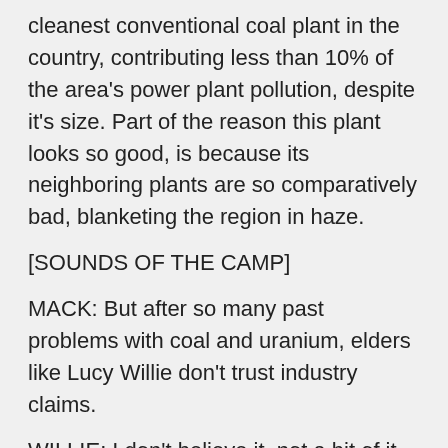cleanest conventional coal plant in the country, contributing less than 10% of the area's power plant pollution, despite it's size. Part of the reason this plant looks so good, is because its neighboring plants are so comparatively bad, blanketing the region in haze.
[SOUNDS OF THE CAMP]
MACK: But after so many past problems with coal and uranium, elders like Lucy Willie don't trust industry claims.
WILLIE: I don't believe it, not a bit of it. How could they do that? How could they make it like that? When you build the fire, it always come up with that smoke.
MACK: The elders have already weathered one big winter snowstorm so far and Willie says she can handle plenty more.